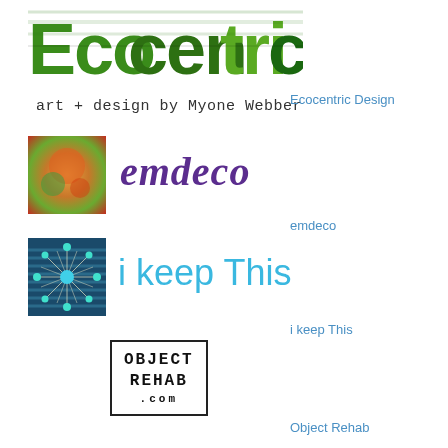[Figure (logo): Ecocentric logo - green bold text with 'art + design by Myone Webber' subtitle]
Ecocentric Design
[Figure (photo): Colorful abstract thumbnail image for emdeco]
emdeco
emdeco
[Figure (illustration): Dark blue background with teal/cyan starburst and dots pattern for i keep This]
i keep This
i keep This
[Figure (logo): Object Rehab logo - box with text OBJECT REHAB .COM]
Object Rehab
[Figure (illustration): The Nostalgia Exchange banner with vintage background]
The Nostalgia Exchange
[Figure (photo): Typewriter image thumbnail for Totally Second Hand]
Totally Second Hand (partial)